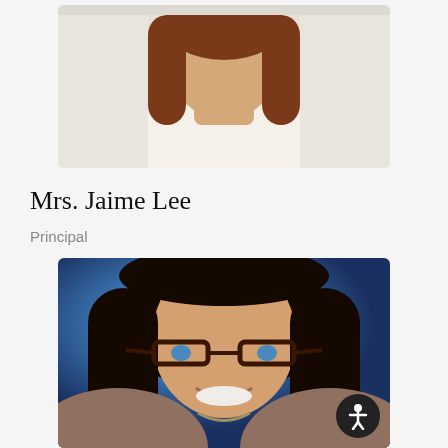[Figure (photo): Cropped photo showing the lower face and shoulder area of a person with long brown hair, against a light background — partially cut off at top]
Mrs. Jaime Lee
Principal
[Figure (photo): Professional headshot of a woman with dark hair and glasses, smiling, against a blue background. A circular accessibility icon button appears in the bottom-right corner.]